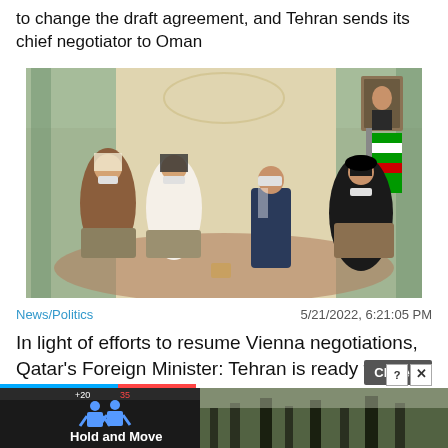to change the draft agreement, and Tehran sends its chief negotiator to Oman
[Figure (photo): Meeting scene with four men seated in a formal room with green curtains and ornate decor. Two men in traditional Arab attire, one man in a suit with a mask, and one man in dark religious clerical clothing seated across.]
News/Politics    5/21/2022, 6:21:05 PM
In light of efforts to resume Vienna negotiations, Qatar's Foreign Minister: Tehran is ready to compromise on the nuclear agreement
[Figure (screenshot): Advertisement banner at bottom showing 'Hold and Move' app with dark background and outdoor forest/winter scene on the right side.]